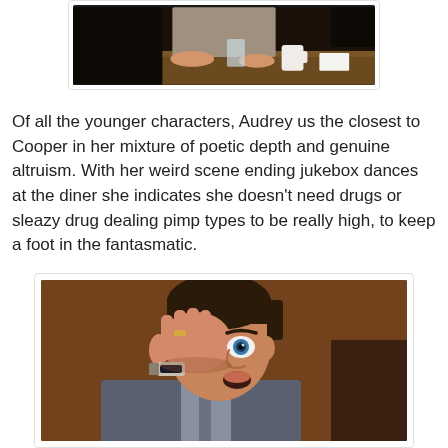[Figure (photo): Partial photo at top of page showing a person (Audrey) sitting at a diner table with a mug and items on the table, dark background.]
Of all the younger characters, Audrey us the closest to Cooper in her mixture of poetic depth and genuine altruism. With her weird scene ending jukebox dances at the diner she indicates she doesn't need drugs or sleazy drug dealing pimp types to be really high, to keep a foot in the fantasmatic.
[Figure (photo): Photo of a man (Cooper) covering one eye with his hand, wearing a ring and watch, looking surprised with one visible blue eye, brown wooden background.]